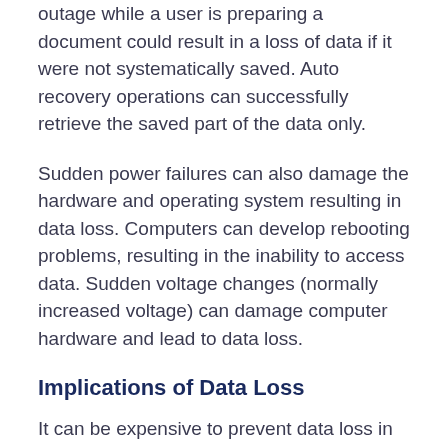outage while a user is preparing a document could result in a loss of data if it were not systematically saved. Auto recovery operations can successfully retrieve the saved part of the data only.
Sudden power failures can also damage the hardware and operating system resulting in data loss. Computers can develop rebooting problems, resulting in the inability to access data. Sudden voltage changes (normally increased voltage) can damage computer hardware and lead to data loss.
Implications of Data Loss
It can be expensive to prevent data loss in terms of resources, training, and investigating. The cost is worth it, as the implications of experiencing a data loss event can be catastrophic. Below are some of the costs and consequences of data loss to organizations: